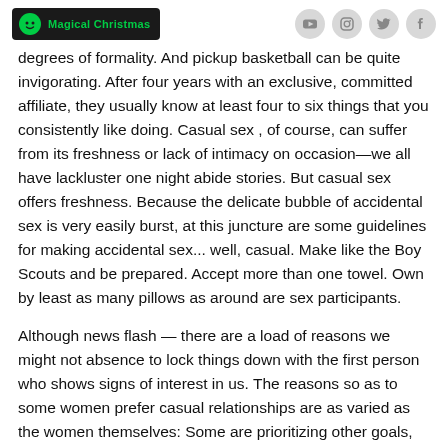Magical Christmas
degrees of formality. And pickup basketball can be quite invigorating. After four years with an exclusive, committed affiliate, they usually know at least four to six things that you consistently like doing. Casual sex , of course, can suffer from its freshness or lack of intimacy on occasion—we all have lackluster one night abide stories. But casual sex offers freshness. Because the delicate bubble of accidental sex is very easily burst, at this juncture are some guidelines for making accidental sex... well, casual. Make like the Boy Scouts and be prepared. Accept more than one towel. Own by least as many pillows as around are sex participants.
Although news flash — there are a load of reasons we might not absence to lock things down with the first person who shows signs of interest in us. The reasons so as to some women prefer casual relationships are as varied as the women themselves: Some are prioritizing other goals, akin to